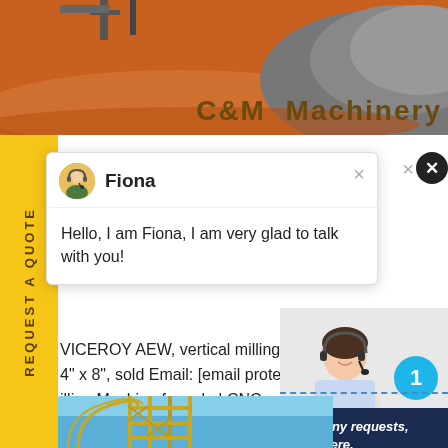[Figure (photo): Mining/quarry site with red earth and gray aggregate pile, with 'C&M Machinery' text overlay]
C&M  Machinery
REQUEST A QUOTE
Fiona
Hello, I am Fiona, I am very glad to talk with you!
VICEROY AEW, vertical milling mach
4" x 8", sold Email: [email protected]
illing Machine for sale | CNC
Have any requests, click here.
Quotation
[Figure (photo): Female customer service agent with headset smiling, with blue notification badge showing '1']
[Figure (photo): Construction site with steel scaffolding against blue sky]